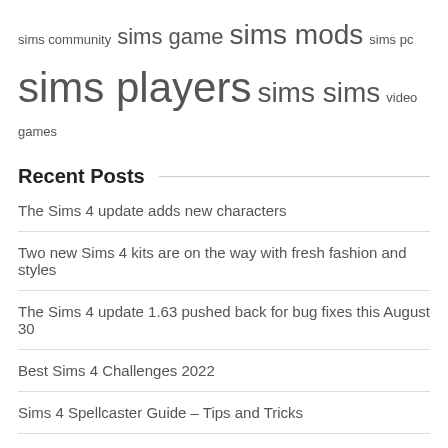sims community  sims game  sims mods  sims pc  sims players  sims sims  video games
Recent Posts
The Sims 4 update adds new characters
Two new Sims 4 kits are on the way with fresh fashion and styles
The Sims 4 update 1.63 pushed back for bug fixes this August 30
Best Sims 4 Challenges 2022
Sims 4 Spellcaster Guide – Tips and Tricks
Archives